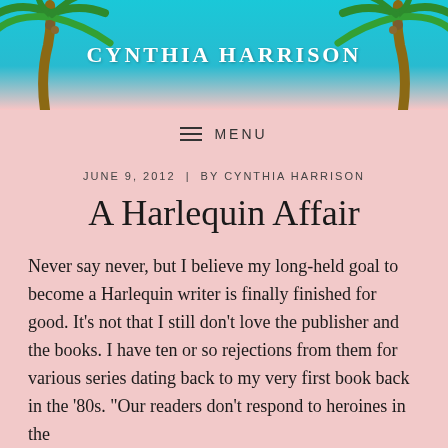[Figure (illustration): Website header banner with tropical beach scene: teal/cyan sky background, two large palm trees on either side, and the text 'CYNTHIA HARRISON' centered in white bold uppercase letters]
≡  MENU
JUNE 9, 2012  |  BY CYNTHIA HARRISON
A Harlequin Affair
Never say never, but I believe my long-held goal to become a Harlequin writer is finally finished for good. It's not that I still don't love the publisher and the books. I have ten or so rejections from them for various series dating back to my very first book back in the '80s. "Our readers don't respond to heroines in the